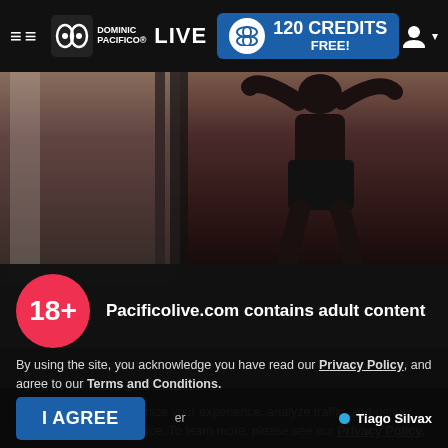DOMINIC PACIFICO LIVE | 120 CREDITS FREE!
[Figure (screenshot): Dark video stream thumbnail showing a silhouetted person posed near a window/doorframe]
18+  Pacificolive.com contains adult content
By using the site, you acknowledge you have read our Privacy Policy, and agree to our Terms and Conditions.
We use cookies to optimize your experience, analyze traffic, and deliver more personalized service. To learn more, please see our Privacy Policy.
I AGREE
Tiago Silvax